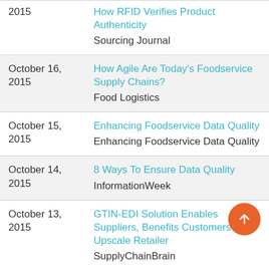2015 | How RFID Verifies Product Authenticity | Sourcing Journal
October 16, 2015 | How Agile Are Today's Foodservice Supply Chains? | Food Logistics
October 15, 2015 | Enhancing Foodservice Data Quality | Enhancing Foodservice Data Quality
October 14, 2015 | 8 Ways To Ensure Data Quality | InformationWeek
October 13, 2015 | GTIN-EDI Solution Enables Suppliers, Benefits Customers of Upscale Retailer | SupplyChainBrain
October 20 | RFID Enabling Retailing ...